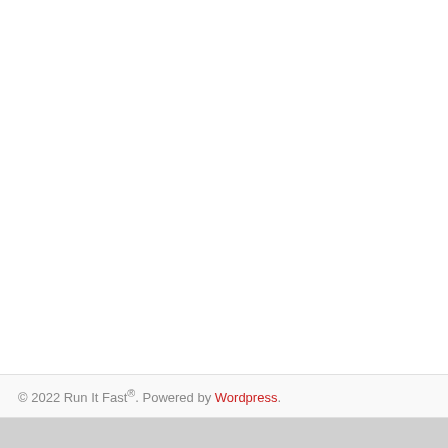© 2022 Run It Fast®. Powered by Wordpress.